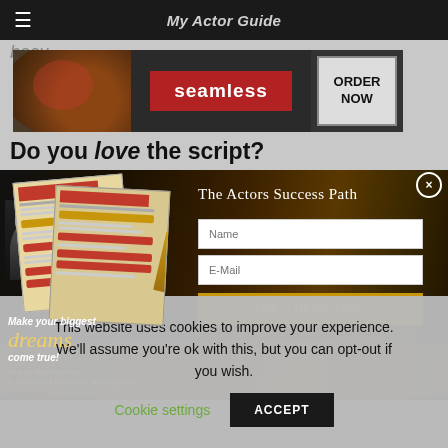My Actor Guide
[Figure (screenshot): Seamless food delivery ad banner with pizza image, seamless logo in red box, and ORDER NOW button]
Do you love the script?
[Figure (screenshot): The Actors Success Path modal overlay with book/roadmap materials on the left, and on the right: title 'The Actors Success Path', Name input field, E-Mail input field, and 'YES, I NEED THIS!' button. Left side shows text: 'Make your biggest dreams come true! Step by Step Roadmap to Becoming a Successful Working Actor']
This website uses cookies to improve your experience. We'll assume you're ok with this, but you can opt-out if you wish.
Cookie settings
ACCEPT